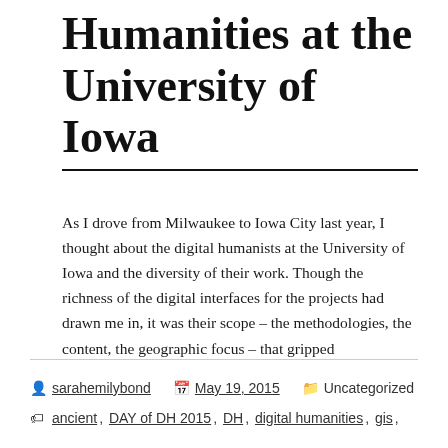Humanities at the University of Iowa
As I drove from Milwaukee to Iowa City last year, I thought about the digital humanists at the University of Iowa and the diversity of their work. Though the richness of the digital interfaces for the projects had drawn me in, it was their scope – the methodologies, the content, the geographic focus – that gripped
Continue reading →
sarahemilybond  May 19, 2015  Uncategorized  ancient, DAY of DH 2015, DH, digital humanities, gis,